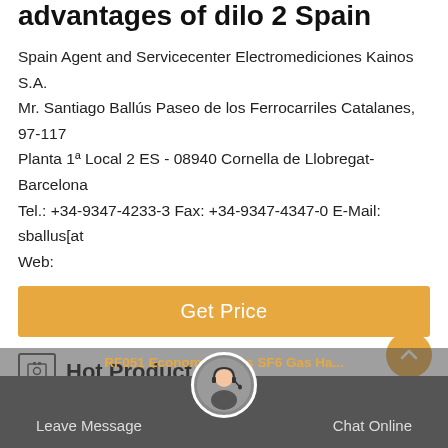advantages of dilo 2 Spain
Spain Agent and Servicecenter Electromediciones Kainos S.A. Mr. Santiago Ballús Paseo de los Ferrocarriles Catalanes, 97-117 Planta 1ª Local 2 ES - 08940 Cornella de Llobregat-Barcelona Tel.: +34-9347-4233-3 Fax: +34-9347-4347-0 E-Mail: sballus[at Web:
Get Price
Hot Product
[Figure (photo): RA912 SF6 Gas Analyzer device photo]
RA912 SF6 Gas Analyzer
For determining the quality of SF6 gas.
[Figure (photo): RF051 Economy Series SF6 Gas product partially visible]
Leave Message   Chat Online